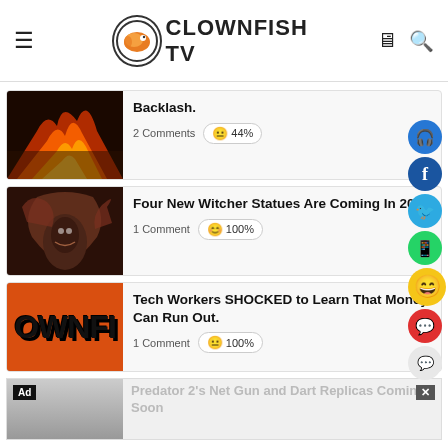Clownfish TV
Backlash.
2 Comments  😐 44%
Four New Witcher Statues Are Coming In 2023
1 Comment  😊 100%
Tech Workers SHOCKED to Learn That Money Can Run Out.
1 Comment  😐 100%
Predator 2's Net Gun and Dart Replicas Coming Soon